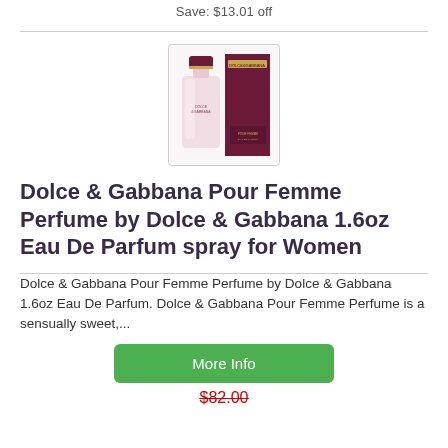Save: $13.01 off
[Figure (photo): Dolce & Gabbana Pour Femme perfume bottle and box. Bottle is clear with dark red/burgundy cap; box is dark burgundy with gold text.]
Dolce & Gabbana Pour Femme Perfume by Dolce & Gabbana 1.6oz Eau De Parfum spray for Women
Dolce & Gabbana Pour Femme Perfume by Dolce & Gabbana 1.6oz Eau De Parfum. Dolce & Gabbana Pour Femme Perfume is a sensually sweet,...
More Info
$82.00